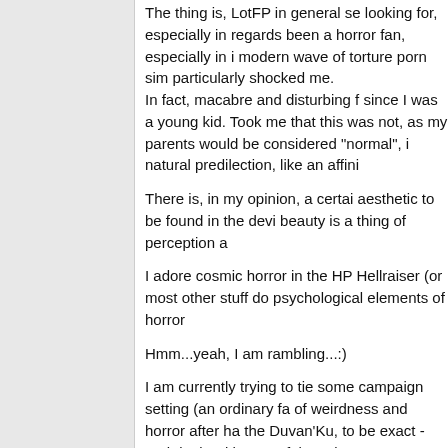The thing is, LotFP in general seems to be what I am looking for, especially in regards to horror. I have always been a horror fan, especially in its more extreme forms. The modern wave of torture porn simply did not particularly shocked me.
In fact, macabre and disturbing films have attracted me since I was a young kid. Took me a long time to realize that this was not, as my parents assumed, something that would be considered "normal", it turned out to be a natural predilection, like an affini
There is, in my opinion, a certain aesthetic to be found in the devi beauty is a thing of perception a
I adore cosmic horror in the HP Hellraiser (or most other stuff do psychological elements of horror
Hmm...yeah, I am rambling...:)
I am currently trying to tie some campaign setting (an ordinary fa of weirdness and horror after ha the Duvan'Ku, to be exact - and deals with powerful, unclean ent